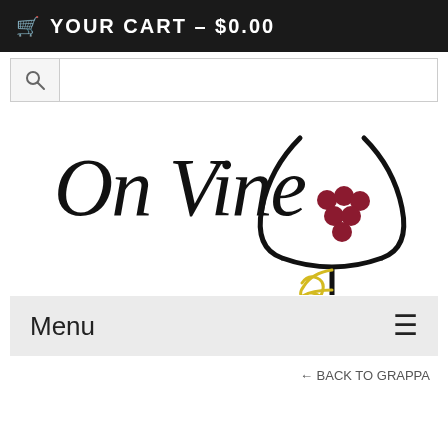🛒 YOUR CART – $0.00
[Figure (other): Search bar with magnifying glass icon on left]
[Figure (logo): On Vine logo: cursive black text 'On Vine' with a wine glass graphic featuring dark red grapes inside and a gold decorative vine/swirl at the base]
Menu ≡
← BACK TO GRAPPA